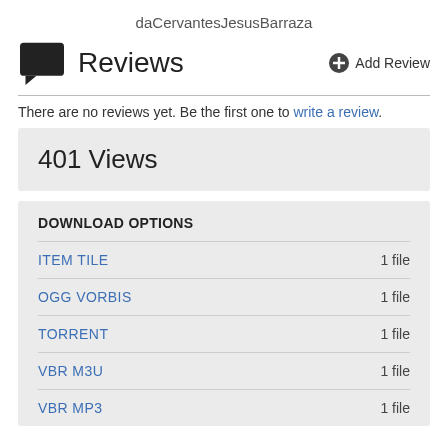daCervantesJesusBarraza
Reviews
There are no reviews yet. Be the first one to write a review.
401 Views
DOWNLOAD OPTIONS
ITEM TILE   1 file
OGG VORBIS   1 file
TORRENT   1 file
VBR M3U   1 file
VBR MP3   1 file